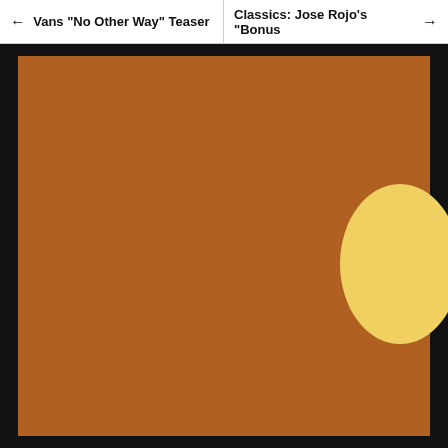← Vans "No Other Way" Teaser | Classics: Jose Rojo's "Bonus →
[Figure (photo): A young man with short dark hair wearing a black jacket stands outdoors at night, smiling and looking to the side. He is holding a drink. In the background there is a white car, trees, and a table with food items on the left.]